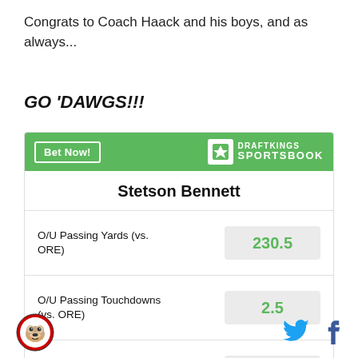Congrats to Coach Haack and his boys, and as always...
GO 'DAWGS!!!
| Stat | Value |
| --- | --- |
| O/U Passing Yards (vs. ORE) | 230.5 |
| O/U Passing Touchdowns (vs. ORE) | 2.5 |
| O/U Interceptions Thrown (vs. ORE) | 0.5 |
Bulldog logo, Twitter icon, Facebook icon